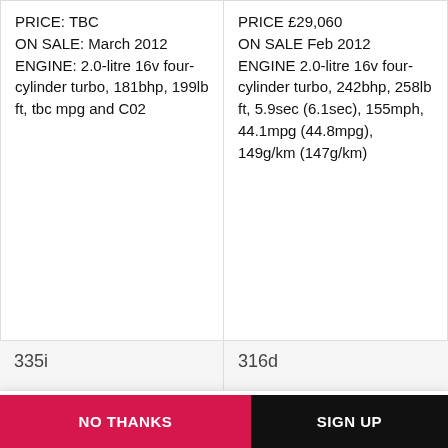PRICE: TBC
ON SALE: March 2012
ENGINE: 2.0-litre 16v four-cylinder turbo, 181bhp, 199lb ft, tbc mpg and C02
PRICE £29,060
ON SALE Feb 2012
ENGINE 2.0-litre 16v four-cylinder turbo, 242bhp, 258lb ft, 5.9sec (6.1sec), 155mph, 44.1mpg (44.8mpg), 149g/km (147g/km)
335i
316d
CAR magazine notifications
Sign up for all the latest breaking news, new-car alerts and the best electric buying advice
NO THANKS
SIGN UP